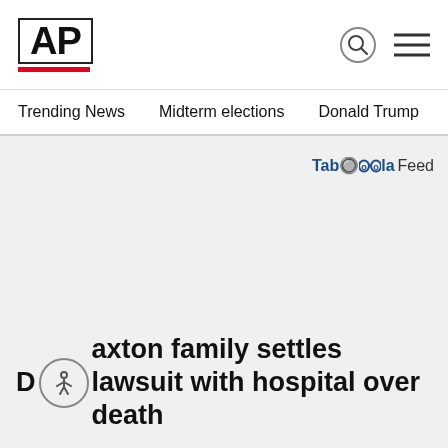AP
Trending News    Midterm elections    Donald Trump    Russia-Ukr
[Figure (other): Taboola Feed logo/label in top right of content area]
D Braxton family settles lawsuit with hospital over death